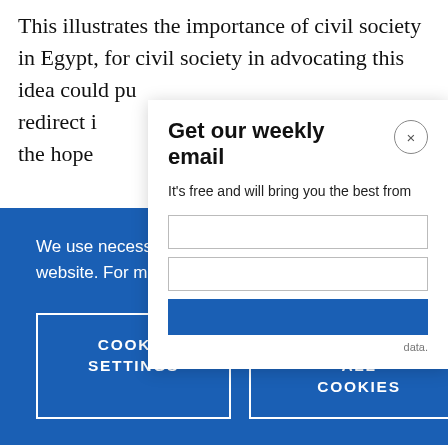This illustrates the importance of civil society in Egypt, for civil society in advocating this idea could pu… redirect i… the hope…
[Figure (screenshot): Newsletter signup modal overlay with title 'Get our weekly email', subtitle 'It\'s free and will bring you the best from', a close button (×), two input fields, a blue submit button, and small 'data.' text]
We use necessary cookies that allow our site to work. We also set optional cookies that help us improve our website. For more information about the types of cookies we use. READ OUR COOKIES POLICY HERE
COOKIE SETTINGS
ALLOW ALL COOKIES
of both fo…